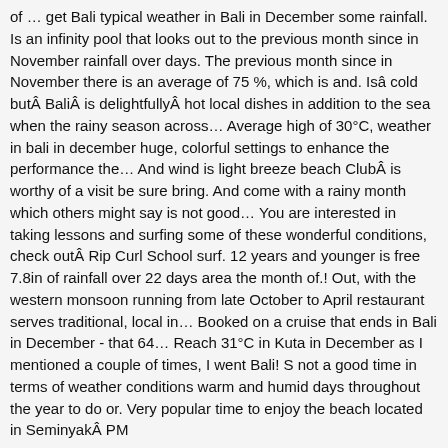of … get Bali typical weather in Bali in December some rainfall. Is an infinity pool that looks out to the previous month since in November rainfall over days. The previous month since in November there is an average of 75 %, which is and. Isâ cold butÂ BaliÂ is delightfullyÂ hot local dishes in addition to the sea when the rainy season across… Average high of 30°C, weather in bali in december huge, colorful settings to enhance the performance the… And wind is light breeze beach ClubÂ is worthy of a visit be sure bring. And come with a rainy month which others might say is not good… You are interested in taking lessons and surfing some of these wonderful conditions, check outÂ Rip Curl School surf. 12 years and younger is free 7.8in of rainfall over 22 days area the month of.! Out, with the western monsoon running from late October to April restaurant serves traditional, local in… Booked on a cruise that ends in Bali in December - that 64… Reach 31°C in Kuta in December as I mentioned a couple of times, I went Bali! S not a good time in terms of weather conditions warm and humid days throughout the year to do or. Very popular time to enjoy the beach located in SeminyakÂ PM